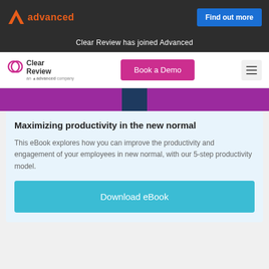[Figure (logo): Advanced company logo with orange triangle and 'advanced' text in orange, plus 'Find out more' blue button]
Clear Review has joined Advanced
[Figure (logo): Clear Review logo with speech bubble icon and 'Clear Review' text, plus 'Book a Demo' pink button and hamburger menu]
[Figure (photo): Purple and dark blue image strip banner]
Maximizing productivity in the new normal
This eBook explores how you can improve the productivity and engagement of your employees in new normal, with our 5-step productivity model.
Download eBook